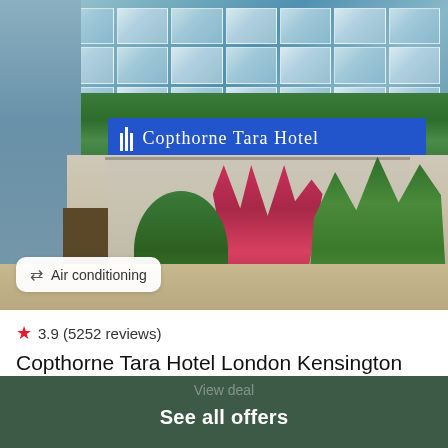[Figure (photo): Hotel exterior photo of Copthorne Tara Hotel with glass facade, blue hotel sign reading 'Copthorne Tara Hotel', red tropical plants, green bushes, and entrance area. An amenity badge reads 'Air conditioning'.]
★ 3.9 (5252 reviews)
Copthorne Tara Hotel London Kensington
hotel
£64.61 /night
Booking.com
See all offers